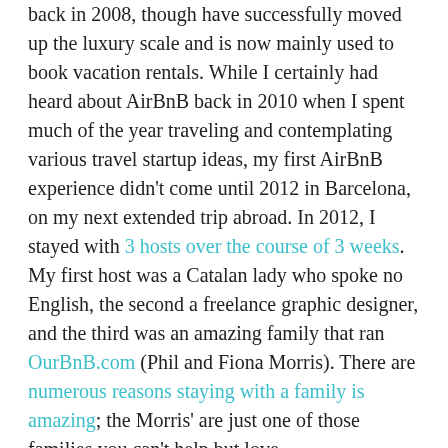back in 2008, though have successfully moved up the luxury scale and is now mainly used to book vacation rentals. While I certainly had heard about AirBnB back in 2010 when I spent much of the year traveling and contemplating various travel startup ideas, my first AirBnB experience didn't come until 2012 in Barcelona, on my next extended trip abroad. In 2012, I stayed with 3 hosts over the course of 3 weeks. My first host was a Catalan lady who spoke no English, the second a freelance graphic designer, and the third was an amazing family that ran OurBnB.com (Phil and Fiona Morris). There are numerous reasons staying with a family is amazing; the Morris' are just one of those families you can't help but love.
The value proposition in the beginning, at least to me, was the time savings of not going back and forth with 5, 10, or even 15 potential hosts on Couchsurfing trying to find someone to take me in. With AirBnB it is just one or two. And then...